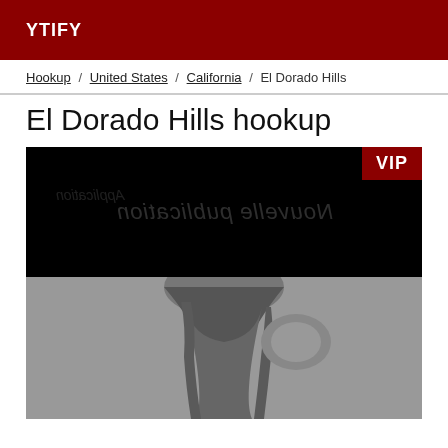YTIFY
Hookup / United States / California / El Dorado Hills
El Dorado Hills hookup
[Figure (photo): Profile photo thumbnail with VIP badge, showing black area with mirrored text 'Nouvelle publication' and a grayscale photo of a woman with long hair seen from behind]